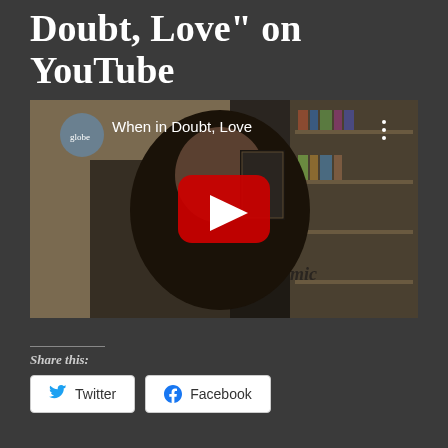Doubt, Love" on YouTube
[Figure (screenshot): YouTube video thumbnail showing a bald man with tattoos facing the camera, in a room with a bookshelf. The video title shown is 'When in Doubt, Love' with a YouTube play button overlay in red.]
Share this:
Twitter
Facebook